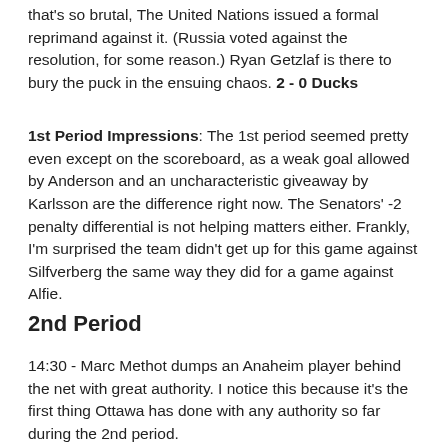2:22 - Erik Karlsson makes a giveaway behind the net that's so brutal, The United Nations issued a formal reprimand against it. (Russia voted against the resolution, for some reason.) Ryan Getzlaf is there to bury the puck in the ensuing chaos. 2 - 0 Ducks
1st Period Impressions: The 1st period seemed pretty even except on the scoreboard, as a weak goal allowed by Anderson and an uncharacteristic giveaway by Karlsson are the difference right now. The Senators' -2 penalty differential is not helping matters either. Frankly, I'm surprised the team didn't get up for this game against Silfverberg the same way they did for a game against Alfie.
2nd Period
14:30 - Marc Methot dumps an Anaheim player behind the net with great authority. I notice this because it's the first thing Ottawa has done with any authority so far during the 2nd period.